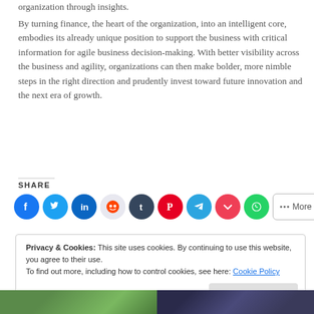organization through insights.
By turning finance, the heart of the organization, into an intelligent core, embodies its already unique position to support the business with critical information for agile business decision-making. With better visibility across the business and agility, organizations can then make bolder, more nimble steps in the right direction and prudently invest toward future innovation and the next era of growth.
SHARE
[Figure (infographic): Social share buttons: Facebook, Twitter, LinkedIn, Reddit, Tumblr, Pinterest, Telegram, Pocket, WhatsApp, and a More button]
Privacy & Cookies: This site uses cookies. By continuing to use this website, you agree to their use. To find out more, including how to control cookies, see here: Cookie Policy
[Figure (photo): Two thumbnail images at the bottom of the page — left shows a green outdoor/nature scene, right shows a dark interior scene]